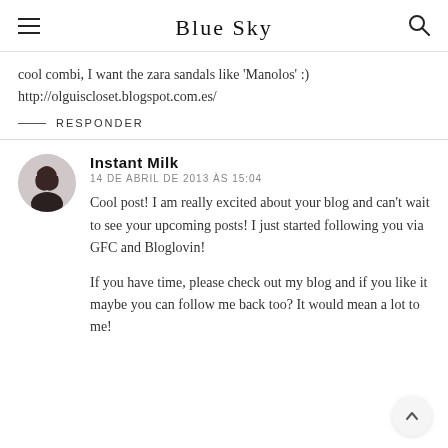Blue Sky
cool combi, I want the zara sandals like 'Manolos' :)
http://olguiscloset.blogspot.com.es/
— RESPONDER
Instant Milk
14 DE ABRIL DE 2013 ÀS 15:04
Cool post! I am really excited about your blog and can't wait to see your upcoming posts! I just started following you via GFC and Bloglovin!
If you have time, please check out my blog and if you like it maybe you can follow me back too? It would mean a lot to me!